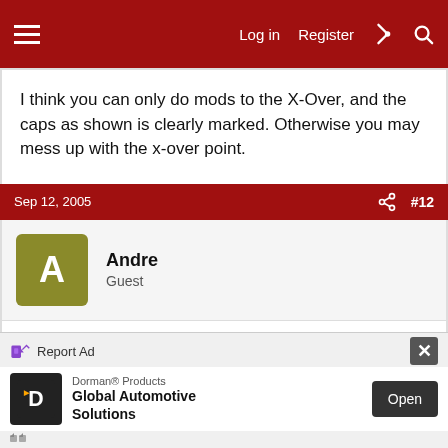Log in  Register  #  🔍
I think you can only do mods to the X-Over, and the caps as shown is clearly marked. Otherwise you may mess up with the x-over point.
Sep 12, 2005  #12
Andre
Guest
JJ Carr,
Just wondering if you can use the old 10uF Solen cap to bypass the 100uF or 170uF caps? What is the general rule in the value of the bypass caps?
Cheers..
Report Ad
Dorman® Products
Global Automotive Solutions
Open